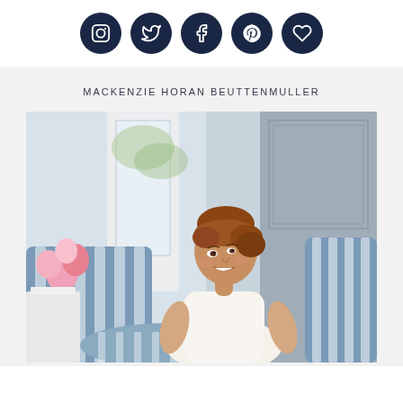[Figure (other): Row of 5 dark navy circular social media icon buttons: Instagram, Twitter, Facebook, Pinterest, and a heart/favorites icon]
MACKENZIE HORAN BEUTTENMULLER
[Figure (photo): Portrait photo of a smiling woman with auburn hair pulled back, wearing a white dress, seated on a blue and white striped sofa/chair. Pink lilies are visible on the left, and a light gray wall with paneling is in the background.]